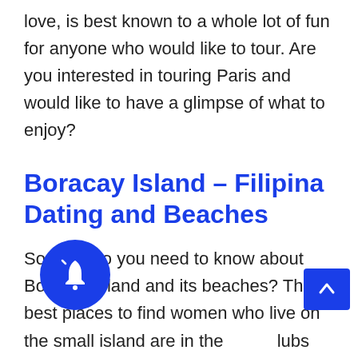love, is best known to a whole lot of fun for anyone who would like to tour. Are you interested in touring Paris and would like to have a glimpse of what to enjoy?
Boracay Island – Filipina Dating and Beaches
So what do you need to know about Boracay Island and its beaches? The best places to find women who live on the small island are in the clubs and bars. You can have a poor-forming pick-up style, too - the girls will be the ones to approach you if you don't.